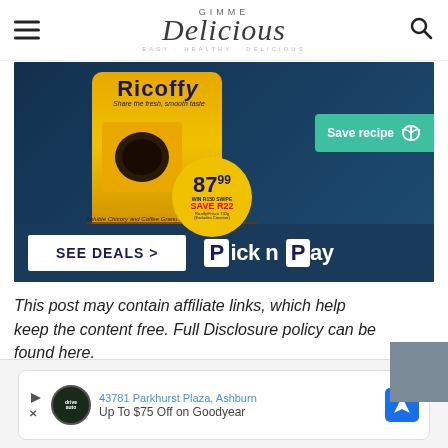GIMME Delicious EASY · HEALTHY · DELICIOUS
[Figure (photo): Ricoffy coffee tin advertisement showing a coffee cup with '87.99' price and 'SAVE R22' promotion, with 'SEE DEALS >' and 'Pick n Pay' branding at the bottom. A green 'Save recipe' button overlay is visible on the right.]
This post may contain affiliate links, which help keep the content free. Full Disclosure policy can be found here.
[Figure (photo): Advertisement banner showing '43781 Parkhurst Plaza, Ashburn' and 'Up To $75 Off on Goodyear' with an auto service logo and navigation icon.]